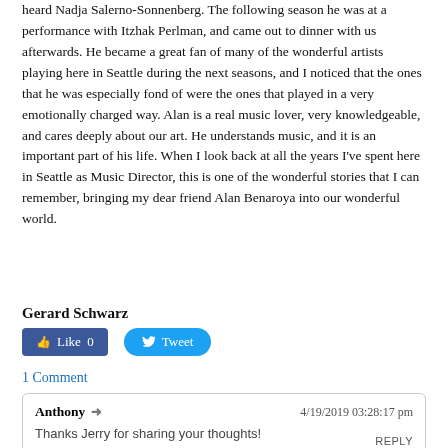heard Nadja Salerno-Sonnenberg. The following season he was at a performance with Itzhak Perlman, and came out to dinner with us afterwards. He became a great fan of many of the wonderful artists playing here in Seattle during the next seasons, and I noticed that the ones that he was especially fond of were the ones that played in a very emotionally charged way. Alan is a real music lover, very knowledgeable, and cares deeply about our art. He understands music, and it is an important part of his life. When I look back at all the years I've spent here in Seattle as Music Director, this is one of the wonderful stories that I can remember, bringing my dear friend Alan Benaroya into our wonderful world.
Gerard Schwarz
[Figure (other): Facebook Like button showing count 0 and Twitter Tweet button]
1 Comment
Anthony → 4/19/2019 03:28:17 pm
Thanks Jerry for sharing your thoughts!